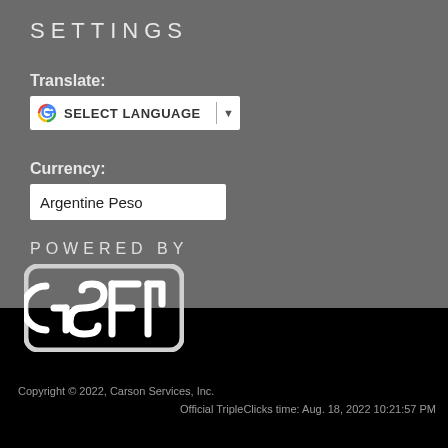SETTINGS
Translate:
[Figure (screenshot): Google Translate widget showing 'SELECT LANGUAGE' dropdown button with Google G logo and dropdown arrow]
Currency:
[Figure (screenshot): Currency dropdown input box showing 'Argentine Peso']
POWERED BY
[Figure (logo): SFI logo - stylized letters G, S, F, I in white on dark rounded rectangle]
Copyright © 2022, Carson Services, Inc.
Official TripleClicks time: Aug. 18, 2022 10:21:57 PM